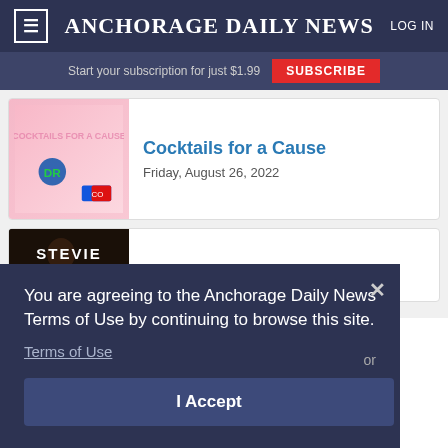≡ ANCHORAGE DAILY NEWS  LOG IN
Start your subscription for just $1.99  SUBSCRIBE
Cocktails for a Cause
Friday, August 26, 2022
[Figure (photo): Pink promotional image for Cocktails for a Cause event with ADR logo]
[Figure (photo): Dark promotional image with STEVIE text]
You are agreeing to the Anchorage Daily News Terms of Use by continuing to browse this site.
Terms of Use
or
I Accept